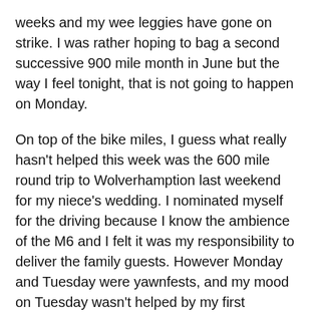weeks and my wee leggies have gone on strike. I was rather hoping to bag a second successive 900 mile month in June but the way I feel tonight, that is not going to happen on Monday.
On top of the bike miles, I guess what really hasn't helped this week was the 600 mile round trip to Wolverhamption last weekend for my niece's wedding. I nominated myself for the driving because I know the ambience of the M6 and I felt it was my responsibility to deliver the family guests. However Monday and Tuesday were yawnfests, and my mood on Tuesday wasn't helped by my first puncture on 2014: you really can't beat messing about with a back wheel in the rain.
But apart from the tiredness and the fuzzy brain, today is a red letter day. When I started out last August, I was only